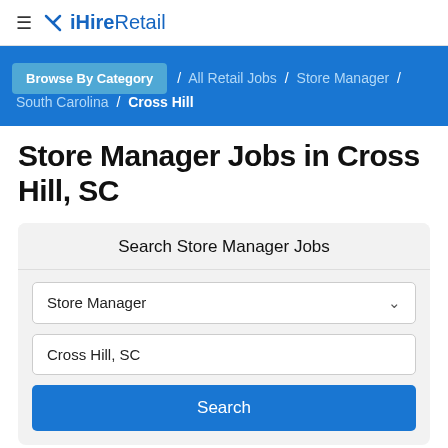≡ iHireRetail
Browse By Category / All Retail Jobs / Store Manager / South Carolina / Cross Hill
Store Manager Jobs in Cross Hill, SC
Search Store Manager Jobs
Store Manager
Cross Hill, SC
Search